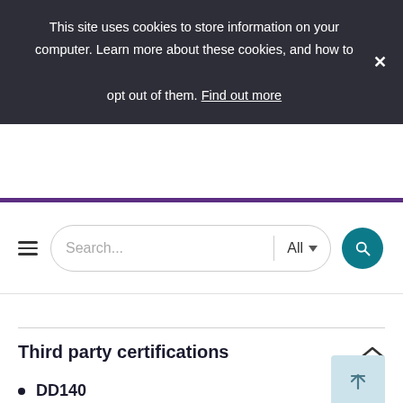This site uses cookies to store information on your computer. Learn more about these cookies, and how to opt out of them. Find out more
[Figure (screenshot): Search bar with hamburger menu, text input placeholder 'Search...', dropdown 'All' with arrow, and teal search button]
Third party certifications
DD140